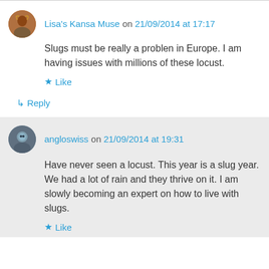Lisa's Kansa Muse on 21/09/2014 at 17:17
Slugs must be really a problen in Europe. I am having issues with millions of these locust.
Like
↳ Reply
angloswiss on 21/09/2014 at 19:31
Have never seen a locust. This year is a slug year. We had a lot of rain and they thrive on it. I am slowly becoming an expert on how to live with slugs.
Like